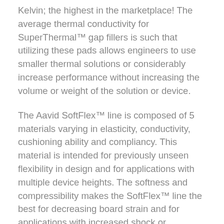Kelvin; the highest in the marketplace! The average thermal conductivity for SuperThermal™ gap fillers is such that utilizing these pads allows engineers to use smaller thermal solutions or considerably increase performance without increasing the volume or weight of the solution or device.
The Aavid SoftFlex™ line is composed of 5 materials varying in elasticity, conductivity, cushioning ability and compliancy. This material is intended for previously unseen flexibility in design and for applications with multiple device heights. The softness and compressibility makes the SoftFlex™ line the best for decreasing board strain and for applications with increased shock or vibration.
The Aavid WaveBlocker™ gap filler features high